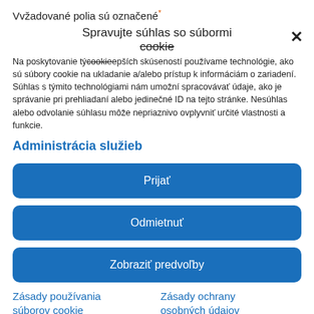Vvžadované polia sú označené*
Spravujte súhlas so súbormi cookie
Na poskytovanie tých lepších skúseností používame technológie, ako sú súbory cookie na ukladanie a/alebo prístup k informáciám o zariadení. Súhlas s týmito technológiami nám umožní spracovávať údaje, ako je správanie pri prehliadaní alebo jedinečné ID na tejto stránke. Nesúhlas alebo odvolanie súhlasu môže nepriaznivo ovplyvniť určité vlastnosti a funkcie.
Administrácia služieb
Prijať
Odmietnuť
Zobraziť predvoľby
Zásady používania súborov cookie
Zásady ochrany osobných údajov